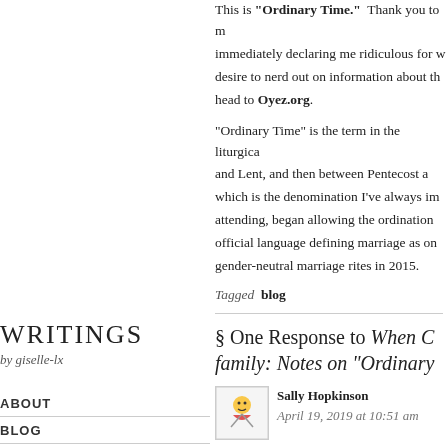This is “Ordinary Time.” Thank you to [text cut off] immediately declaring me ridiculous for w[text cut off] desire to nerd out on information about th[text cut off] head to Oyez.org.
“Ordinary Time” is the term in the liturgica[text cut off] and Lent, and then between Pentecost a[text cut off] which is the denomination I’ve always im[text cut off] attending, began allowing the ordination [text cut off] official language defining marriage as on[text cut off] gender-neutral marriage rites in 2015.
Tagged  blog
WRITINGS
by giselle-lx
ABOUT
BLOG
ASK CARLISLE TUMBLR
ITHACA IS GORGES
STREGONI BENEFICI
ONE DAY
§ One Response to When C[text cut off] family: Notes on “Ordinary[text cut off]
Sally Hopkinson
April 19, 2019 at 10:51 am
Oh, so excited to see this pop up in my e[text cut off]